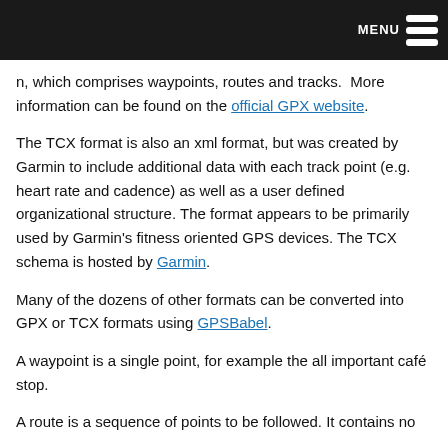MENU
n, which comprises waypoints, routes and tracks.  More information can be found on the official GPX website.
The TCX format is also an xml format, but was created by Garmin to include additional data with each track point (e.g. heart rate and cadence) as well as a user defined organizational structure. The format appears to be primarily used by Garmin's fitness oriented GPS devices. The TCX schema is hosted by Garmin.
Many of the dozens of other formats can be converted into GPX or TCX formats using GPSBabel.
A waypoint is a single point, for example the all important café stop.
A route is a sequence of points to be followed. It contains no